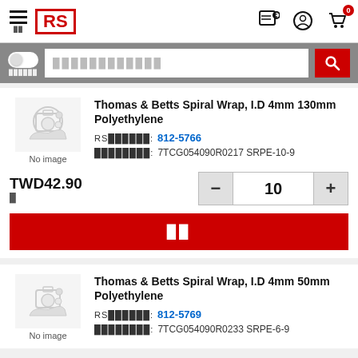RS Components - Electronics e-commerce product listing page
Thomas & Betts Spiral Wrap, I.D 4mm 130mm Polyethylene
RS料號: 812-5766
製造商編號: 7TCG054090R0217 SRPE-10-9
TWD42.90
Thomas & Betts Spiral Wrap, I.D 4mm 50mm Polyethylene
RS料號: 812-5769
製造商編號: 7TCG054090R0233 SRPE-6-9